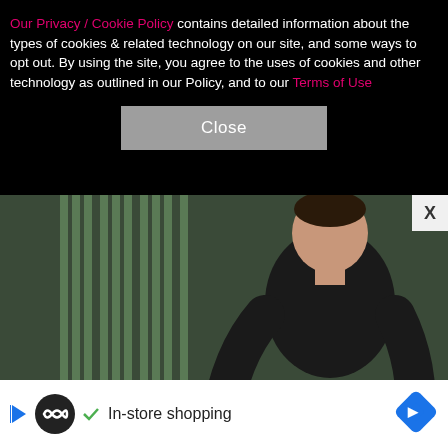Our Privacy / Cookie Policy contains detailed information about the types of cookies & related technology on our site, and some ways to opt out. By using the site, you agree to the uses of cookies and other technology as outlined in our Policy, and to our Terms of Use
Close
[Figure (photo): A man wearing a black sweater standing in front of a Hard Rock Hotel & Casino / Seminole Hollywood branded backdrop. He appears to be at an event.]
In-store shopping